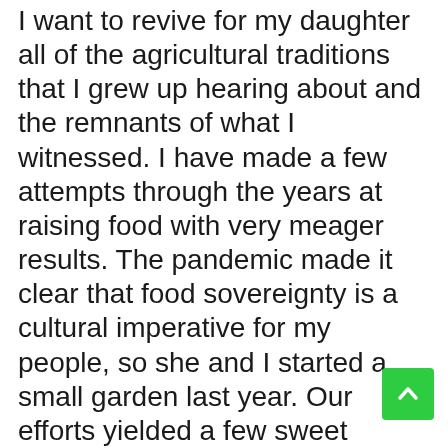I want to revive for my daughter all of the agricultural traditions that I grew up hearing about and the remnants of what I witnessed. I have made a few attempts through the years at raising food with very meager results. The pandemic made it clear that food sovereignty is a cultural imperative for my people, so she and I started a small garden last year. Our efforts yielded a few sweet potatoes, a melon, and flowers. In memory of my grandmother we planted gladiolus bulbs in late spring. As they bloomed I thought of her. I picked several, put them in a vase, and shared them with a neighbor, as I knew my grandmother would have done.